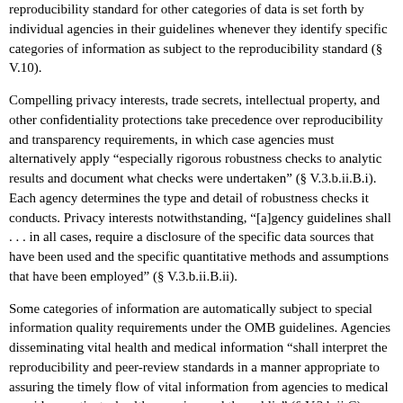reproducibility standard for other categories of data is set forth by individual agencies in their guidelines whenever they identify specific categories of information as subject to the reproducibility standard (§ V.10).
Compelling privacy interests, trade secrets, intellectual property, and other confidentiality protections take precedence over reproducibility and transparency requirements, in which case agencies must alternatively apply "especially rigorous robustness checks to analytic results and document what checks were undertaken" (§ V.3.b.ii.B.i). Each agency determines the type and detail of robustness checks it conducts. Privacy interests notwithstanding, "[a]gency guidelines shall . . . in all cases, require a disclosure of the specific data sources that have been used and the specific quantitative methods and assumptions that have been employed" (§ V.3.b.ii.B.ii).
Some categories of information are automatically subject to special information quality requirements under the OMB guidelines. Agencies disseminating vital health and medical information "shall interpret the reproducibility and peer-review standards in a manner appropriate to assuring the timely flow of vital information from agencies to medical providers, patients, health agencies, and the public" (§ V.3.b.ii.C). Similarly, when agencies maintain and disseminate information with regard to analysis of risks to human